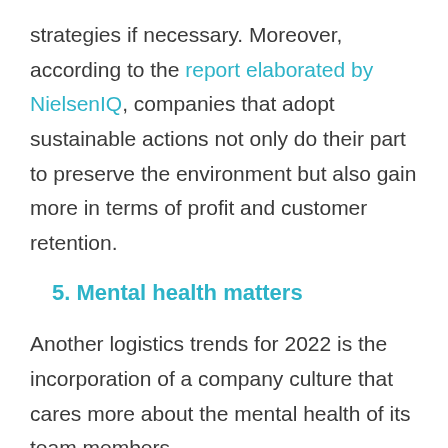strategies if necessary. Moreover, according to the report elaborated by NielsenIQ, companies that adopt sustainable actions not only do their part to preserve the environment but also gain more in terms of profit and customer retention.
5. Mental health matters
Another logistics trends for 2022 is the incorporation of a company culture that cares more about the mental health of its team members.